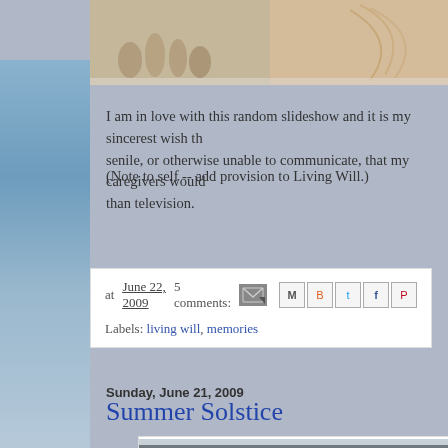[Figure (photo): Sepia-toned photograph strip at top of blog post showing jars/objects and a fan or umbrella]
I am in love with this random slideshow and it is my sincerest wish th... senile, or otherwise unable to communicate, that my caregivers would... than television.
(Note to self -- add provision to Living Will.)
at June 22, 2009  5 comments:  [share icons]  Labels: living will, memories
Sunday, June 21, 2009
Summer Solstice
[Figure (photo): Photograph showing sky with silhouette of trees at bottom, appears to be dusk or dawn sky]